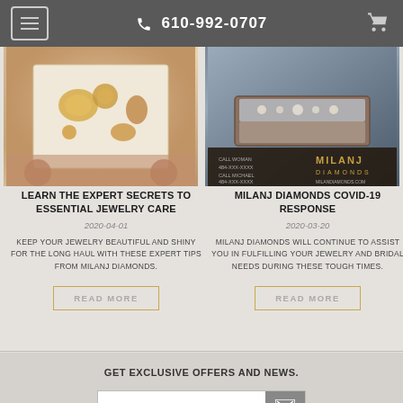☎ 610-992-0707
[Figure (photo): Hands holding a white box with gold jewelry pieces including necklaces, rings, and pendants]
[Figure (photo): Interior of Milanj Diamonds jewelry store showroom with display cases]
LEARN THE EXPERT SECRETS TO ESSENTIAL JEWELRY CARE
2020-04-01
KEEP YOUR JEWELRY BEAUTIFUL AND SHINY FOR THE LONG HAUL WITH THESE EXPERT TIPS FROM MILANJ DIAMONDS.
READ MORE
MILANJ DIAMONDS COVID-19 RESPONSE
2020-03-20
MILANJ DIAMONDS WILL CONTINUE TO ASSIST YOU IN FULFILLING YOUR JEWELRY AND BRIDAL NEEDS DURING THESE TOUGH TIMES.
READ MORE
GET EXCLUSIVE OFFERS AND NEWS.
Newsletter Signup